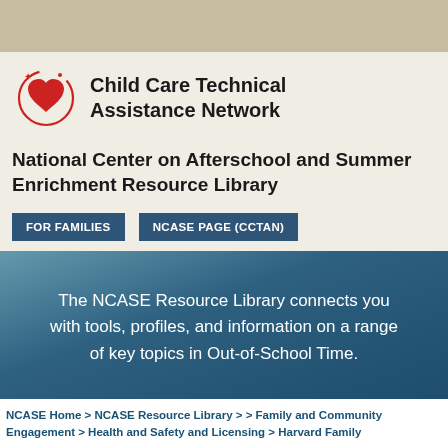[Figure (logo): Child Care Technical Assistance Network logo with red heart and circular design]
Child Care Technical Assistance Network
National Center on Afterschool and Summer Enrichment Resource Library
FOR FAMILIES
NCASE PAGE (CCTAN)
The NCASE Resource Library connects you with tools, profiles, and information on a range of key topics in Out-of-School Time.
NCASE Home > NCASE Resource Library > > Family and Community Engagement > Health and Safety and Licensing > Harvard Family